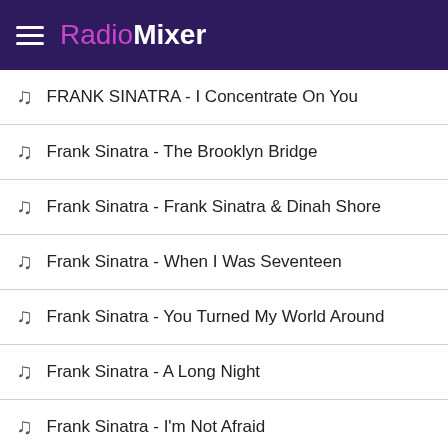RadioMixer
FRANK SINATRA - I Concentrate On You
Frank Sinatra - The Brooklyn Bridge
Frank Sinatra - Frank Sinatra & Dinah Shore
Frank Sinatra - When I Was Seventeen
Frank Sinatra - You Turned My World Around
Frank Sinatra - A Long Night
Frank Sinatra - I'm Not Afraid
Frank Sinatra - Thanks For The Memory
Frank Sinatra - The hurt doesn't go away